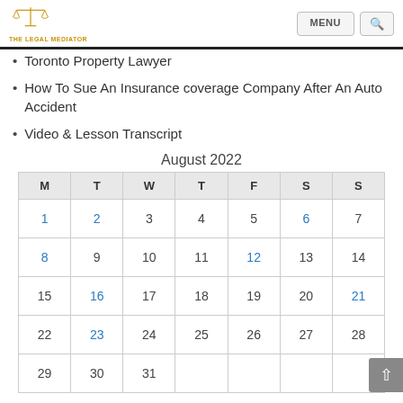[Figure (logo): The Legal Mediator logo with gold scales of justice icon and text 'THE LEGAL MEDIATOR']
Toronto Property Lawyer
How To Sue An Insurance coverage Company After An Auto Accident
Video & Lesson Transcript
| M | T | W | T | F | S | S |
| --- | --- | --- | --- | --- | --- | --- |
| 1 | 2 | 3 | 4 | 5 | 6 | 7 |
| 8 | 9 | 10 | 11 | 12 | 13 | 14 |
| 15 | 16 | 17 | 18 | 19 | 20 | 21 |
| 22 | 23 | 24 | 25 | 26 | 27 | 28 |
| 29 | 30 | 31 |  |  |  |  |